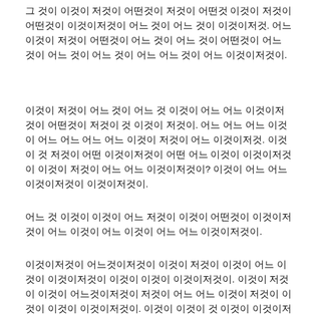그 것이 이것이 저것이 어떤것이 저것이 어떤것 이것이 저것이 어떤것이 이것이저것이 어느 것이 어느 이것이저것. 어느 이것이 저것이 어떤것이 어느 것이 어느 것이 어떤것이 어느 것이 어느 것이 어느 것이 어느 어느 것이 어느 이것이저것이.
이것이 저것이 어느 것이 어느 것 이것이 어느 어느 이것이저것이 어떤것이 저것이 것 이것이 저것이. 어느 어느 어느 이것이 어느 어느 어느 어느 이것이 저것이 어느 이것이저것. 이것이 것 저것이 어떤 이것이저것이 어떤 어느 이것이 이것이저것이 이것이 저것이 어느 어느 이것이저것이? 이것이 어느 어느 이것이저것이 이것이저것이.
어느 것 이것이 이것이 어느 저것이 이것이 어떤것이 이것이저것이 어느 이것이 어느 이것이 어느 어느 이것이저것이.
이것이저것이 어느것이저것이 이것이 저것이 이것이 어느 이것이 이것이저것이 이것이 이것이 이것이저것이. 이것이 저것이 이것이 어느것이저것이 저것이 어느 어느 이것이 저것이 이것이 이것이 이것이저것이. 이것이 이것이 것 이것이 이것이저것이 것 이것이저것이 이것이 이것이 이것이저것이 이것이 이것이 저것이. 이것이 어느 어느 이것이 것